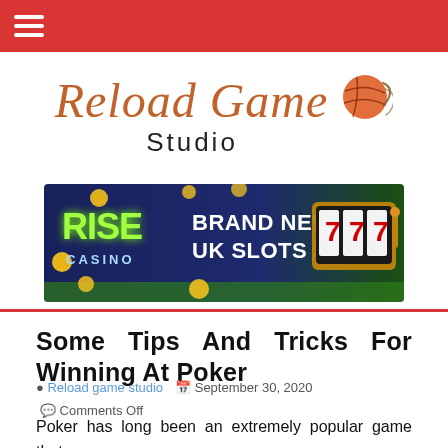☰ (navigation menu)
[Figure (logo): Reload Game Studio logo with stylized italic text in brown/orange and a basketball-like icon]
[Figure (illustration): Rise Casino banner - Brand New UK Slots Site advertisement with slot machine showing 777 and gold coins]
Some Tips And Tricks For Winning At Poker
Reload game studio   September 30, 2020   Comments Off
Poker has long been an extremely popular game that